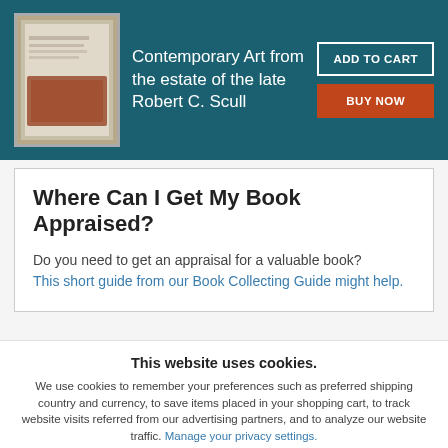Contemporary Art from the estate of the late Robert C. Scull
Where Can I Get My Book Appraised?
Do you need to get an appraisal for a valuable book? This short guide from our Book Collecting Guide might help.
This website uses cookies.
We use cookies to remember your preferences such as preferred shipping country and currency, to save items placed in your shopping cart, to track website visits referred from our advertising partners, and to analyze our website traffic. Manage your privacy settings.